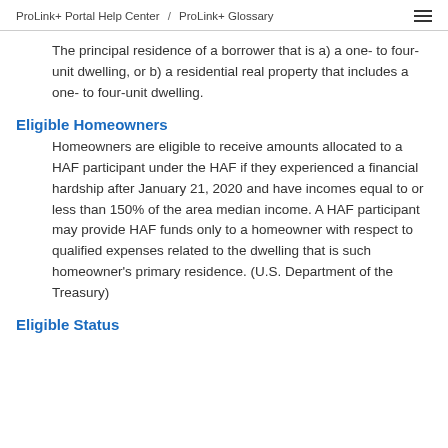ProLink+ Portal Help Center / ProLink+ Glossary
The principal residence of a borrower that is a) a one- to four-unit dwelling, or b) a residential real property that includes a one- to four-unit dwelling.
Eligible Homeowners
Homeowners are eligible to receive amounts allocated to a HAF participant under the HAF if they experienced a financial hardship after January 21, 2020 and have incomes equal to or less than 150% of the area median income. A HAF participant may provide HAF funds only to a homeowner with respect to qualified expenses related to the dwelling that is such homeowner's primary residence. (U.S. Department of the Treasury)
Eligible Status